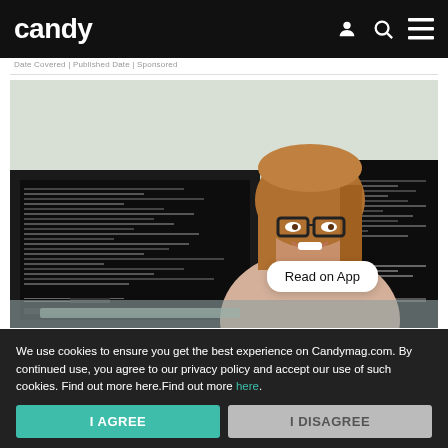candy
Date Covered | Published Date | Sponsored
[Figure (photo): Woman with glasses smiling at camera, seated at a desk with multiple monitors showing code/terminal screens. 'Read on App' button overlaid on image.]
We use cookies to ensure you get the best experience on Candymag.com. By continued use, you agree to our privacy policy and accept our use of such cookies. Find out more here.Find out more here.
I AGREE
I DISAGREE